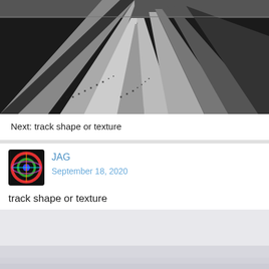[Figure (photo): Black and white aerial or overhead photograph of agricultural fields with parallel rows/tracks receding into the distance, creating strong linear perspective.]
Next: track shape or texture
[Figure (photo): Small avatar image showing a colorful circular design (possibly a wheel or abstract art) on dark background, used as user profile picture for JAG.]
JAG
September 18, 2020
track shape or texture
[Figure (photo): Black and white misty/foggy landscape photograph showing a rocky or hilly landmass barely visible through thick fog or cloud cover, with a pale grey sky.]